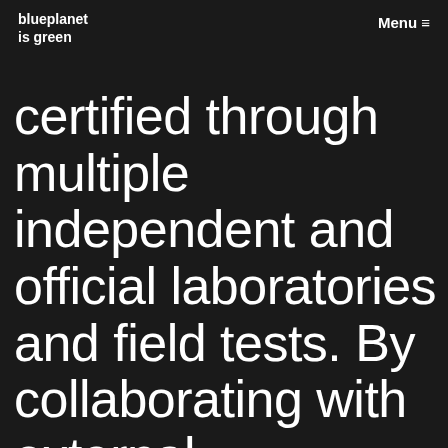blueplanet is green   Menu ≡
certified through multiple independent and official laboratories and field tests. By collaborating with external laboratories, we ensure the effectiveness of our products and certify its efficiency.